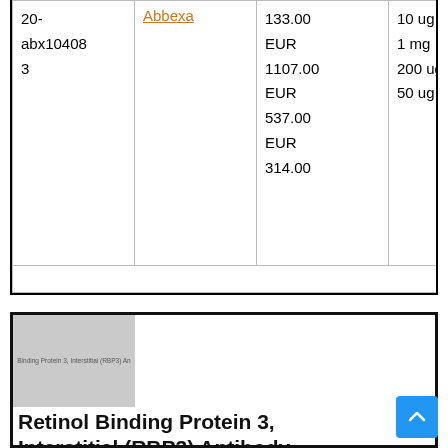| Catalog ID | Supplier | Price | Quantity |
| --- | --- | --- | --- |
| 20-abx104083 | Abbexa | 133.00
EUR
1107.00
EUR
537.00
EUR
314.00 | 10 ug
1 mg
200 ug
50 ug |
[Figure (other): Gray placeholder image for Retinol Binding Protein 3, Interstitial (RBP3) Antibody product listing]
Retinol Binding Protein 3, Interstitial (RBP3) Antibody